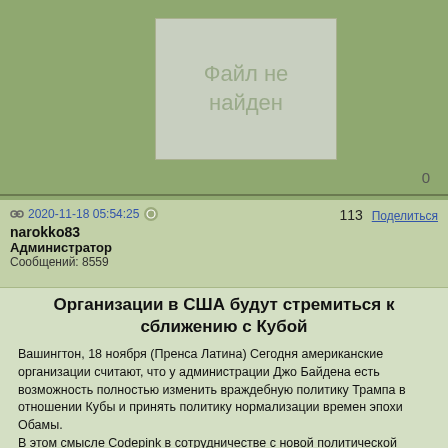[Figure (other): Placeholder image box showing 'Файл не найден' (File not found) in grey]
0
2020-11-18 05:54:25
113  Поделиться
narokko83
Администратор
Сообщений: 8559
Организации в США будут стремиться к сближению с Кубой
Вашингтон, 18 ноября (Пренса Латина) Сегодня американские организации считают, что у администрации Джо Байдена есть возможность полностью изменить враждебную политику Трампа в отношении Кубы и принять политику нормализации времен эпохи Обамы.
В этом смысле Codepink в сотрудничестве с новой политической группой под названием Acere (Альянс за приверженность и уважение Кубы) разрабатывает 26 действий, которые президентство Байдена могло бы преследовать в первый